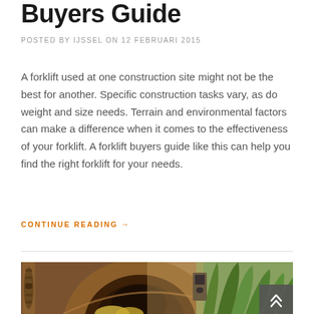Buyers Guide
POSTED BY IJSSEL ON 12 FEBRUARI 2015
A forklift used at one construction site might not be the best for another. Specific construction tasks vary, as do weight and size needs. Terrain and environmental factors can make a difference when it comes to the effectiveness of your forklift. A forklift buyers guide like this can help you find the right forklift for your needs.
CONTINUE READING →
[Figure (photo): A wooden bowl and interior scene with green plants in the background, photographed in warm tones.]